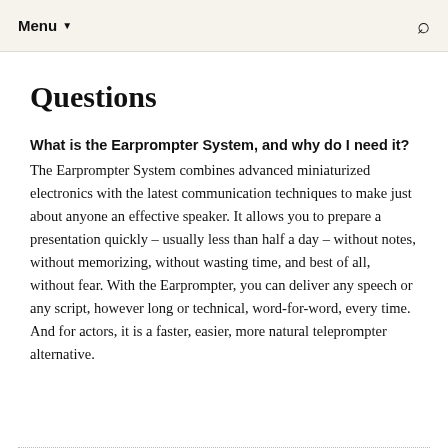Menu ▼
Questions
What is the Earprompter System, and why do I need it?
The Earprompter System combines advanced miniaturized electronics with the latest communication techniques to make just about anyone an effective speaker. It allows you to prepare a presentation quickly – usually less than half a day – without notes, without memorizing, without wasting time, and best of all, without fear. With the Earprompter, you can deliver any speech or any script, however long or technical, word-for-word, every time. And for actors, it is a faster, easier, more natural teleprompter alternative.